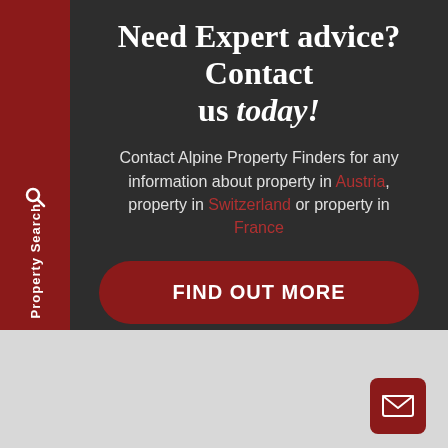Need Expert advice? Contact us today!
Contact Alpine Property Finders for any information about property in Austria, property in Switzerland or property in France
FIND OUT MORE
[Figure (other): Email/envelope icon in a dark red rounded square button]
Property Search